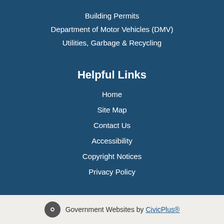Building Permits
Department of Motor Vehicles (DMV)
Utilities, Garbage & Recycling
Helpful Links
Home
Site Map
Contact Us
Accessibility
Copyright Notices
Privacy Policy
Government Websites by CivicPlus®